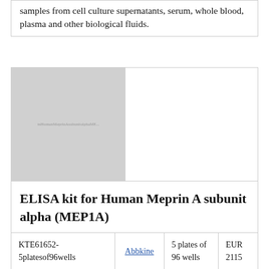samples from cell culture supernatants, serum, whole blood, plasma and other biological fluids.
[Figure (photo): Product image placeholder for ELISA kit - gray rectangle with small watermark text]
ELISA kit for Human Meprin A subunit alpha (MEP1A)
| Product Code | Supplier | Size | Price |
| --- | --- | --- | --- |
| KTE61652-5platesof96wells | Abbkine | 5 plates of 96 wells | EUR 2115 |
Description: Quantitative sandwich ELISA for measuring Human Meprin A subunit alpha (MEP1A) in samples from cell culture supernatants, serum, whole